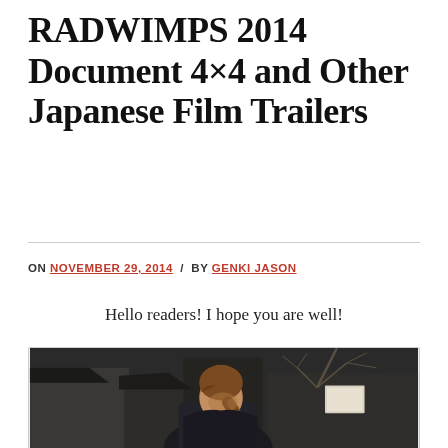RADWIMPS 2014 Document 4×4 and Other Japanese Film Trailers
ON NOVEMBER 29, 2014 / BY GENKI JASON
Hello readers! I hope you are well!
[Figure (photo): A person with a long ponytail wearing dark clothing, photographed outdoors with bare winter trees and traditional Japanese architecture in the background. The image appears to be a still from a Japanese film.]